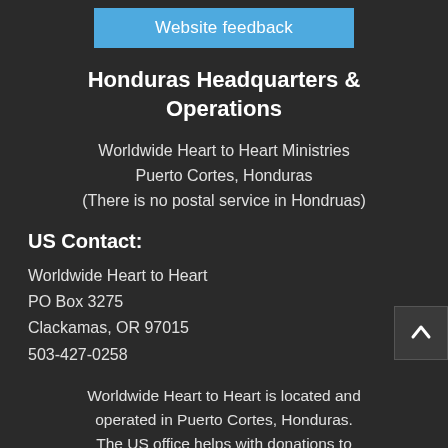[Figure (other): Blue 'Website feedback' button]
Honduras Headquarters & Operations
Worldwide Heart to Heart Ministries
Puerto Cortes, Honduras
(There is no postal service in Hondruas)
US Contact:
Worldwide Heart to Heart
PO Box 3275
Clackamas, OR 97015
503-427-0258
Worldwide Heart to Heart is located and operated in Puerto Cortes, Honduras. The US office helps with donations to support the ministry in Honduras.
Copyright © Worldwide Heart to Heart